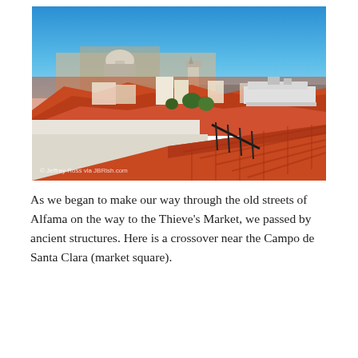[Figure (photo): Panoramic view of Alfama district in Lisbon, Portugal. Orange terracotta rooftops spread across the hillside, with a church dome and tower visible in the middle distance. The Tagus river estuary is visible in the background with a large cruise ship docked. A railing and tiled rooftop are in the foreground. Watermark reads: © Jeffrey Ross via JBRish.com]
As we began to make our way through the old streets of Alfama on the way to the Thieve's Market, we passed by ancient structures. Here is a crossover near the Campo de Santa Clara (market square).